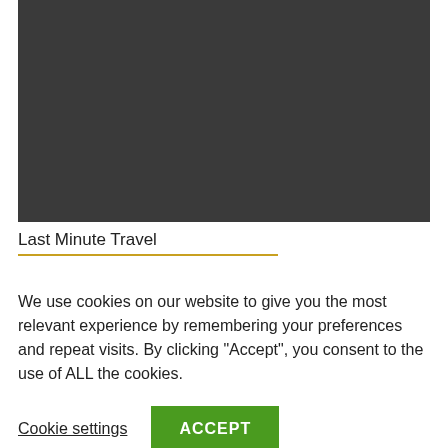[Figure (photo): Dark gray/charcoal colored image placeholder occupying the top portion of the page]
Last Minute Travel
We use cookies on our website to give you the most relevant experience by remembering your preferences and repeat visits. By clicking “Accept”, you consent to the use of ALL the cookies.
Cookie settings
ACCEPT